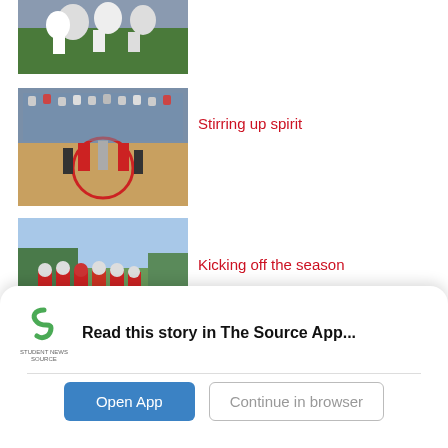[Figure (photo): Sports photo at top, partially visible (cropped), athletes in white jerseys on field]
[Figure (photo): Spirit event photo showing students holding hands in a circle on a basketball court with crowd in bleachers]
Stirring up spirit
[Figure (photo): Football players in red and white jerseys huddled on a green field]
Kicking off the season
[Figure (photo): Tennis court or outdoor sports area partially visible]
Causing a Racket
Read this story in The Source App...
Open App
Continue in browser